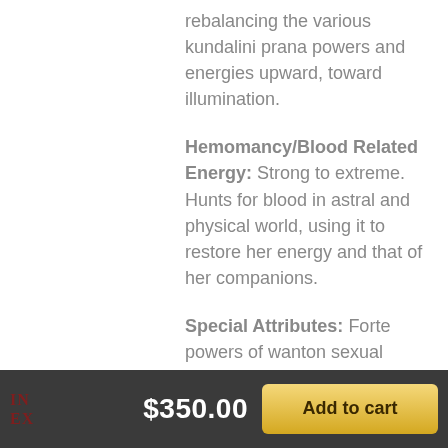rebalancing the various kundalini prana powers and energies upward, toward illumination.
Hemomancy/Blood Related Energy: Strong to extreme. Hunts for blood in astral and physical world, using it to restore her energy and that of her companions.
Special Attributes: Forte powers of wanton sexual energy, sang channeling infusions of sexual power and demonic strength.
$350.00  Add to cart